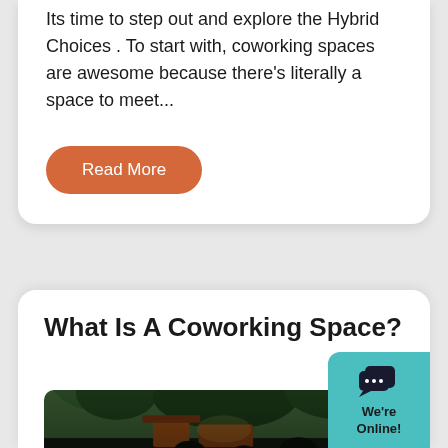Its time to step out and explore the Hybrid Choices . To start with, coworking spaces are awesome because there's literally a space to meet...
Read More
What Is A Coworking Space?
[Figure (photo): A photo showing people in an outdoor or semi-outdoor coworking/seating area with green trees in the background]
We're Online!